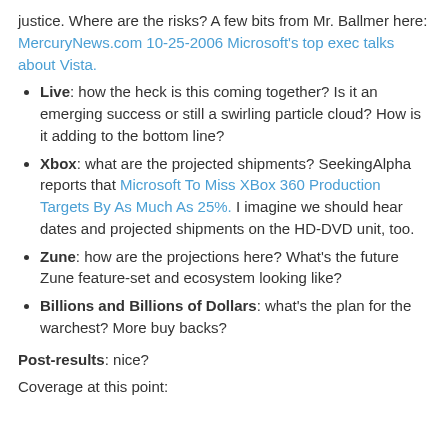justice. Where are the risks? A few bits from Mr. Ballmer here: MercuryNews.com 10-25-2006 Microsoft's top exec talks about Vista.
Live: how the heck is this coming together? Is it an emerging success or still a swirling particle cloud? How is it adding to the bottom line?
Xbox: what are the projected shipments? SeekingAlpha reports that Microsoft To Miss XBox 360 Production Targets By As Much As 25%. I imagine we should hear dates and projected shipments on the HD-DVD unit, too.
Zune: how are the projections here? What's the future Zune feature-set and ecosystem looking like?
Billions and Billions of Dollars: what's the plan for the warchest? More buy backs?
Post-results: nice?
Coverage at this point: